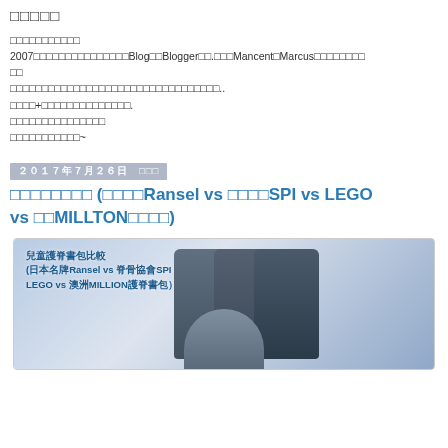□□□□□
□□□□□□□□□□□
2007□□□□□□□□□□□□□□□Blog□□Blogger□□.□□□Mancent□Marcus□□□□□□□□
□□□□□□□□□□□□□□□□□□□□□□□□□□□□□□□□□□..
□□□□+□□□□□□□□□□□□□□□.
□□□□□□□□□□□□□□□
□□□□□□□□□□□~
2017□7□26□　□□□
□□□□□□□□ (□□□□Ransel vs □□□□SPI vs LEGO vs □□MILLTON□□□□)
[Figure (photo): Blog post thumbnail image showing text overlay in Chinese: 兒童護脊書包比較 (日本名牌Ransel vs 脊骨協會SPI LEGO vs 澳洲MILLION護脊書包) with backpack product photos on the right side]